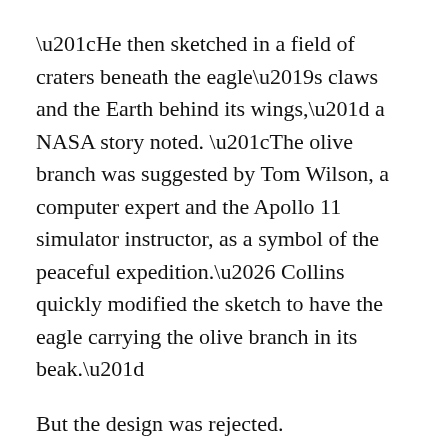“He then sketched in a field of craters beneath the eagle’s claws and the Earth behind its wings,” a NASA story noted. “The olive branch was suggested by Tom Wilson, a computer expert and the Apollo 11 simulator instructor, as a symbol of the peaceful expedition.… Collins quickly modified the sketch to have the eagle carrying the olive branch in its beak.”
But the design was rejected.
“Bob Gilruth, the director of the then-named Manned Spacecraft Center, saw the eagle landing with its talons extended as too hostile and warlike.”